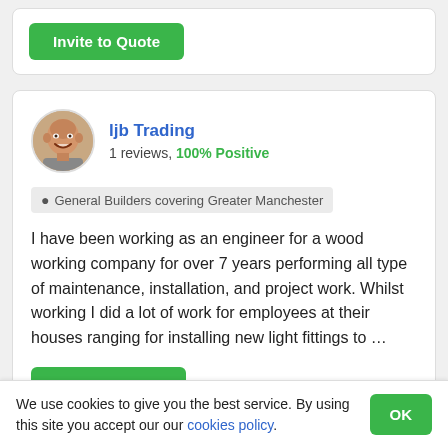[Figure (other): Green 'Invite to Quote' button in top card]
[Figure (photo): Profile photo of a bald smiling man — ljb Trading]
ljb Trading
1 reviews, 100% Positive
General Builders covering Greater Manchester
I have been working as an engineer for a wood working company for over 7 years performing all type of maintenance, installation, and project work. Whilst working I did a lot of work for employees at their houses ranging for installing new light fittings to …
[Figure (other): Green 'Invite to Quote' button in main card]
We use cookies to give you the best service. By using this site you accept our our cookies policy.